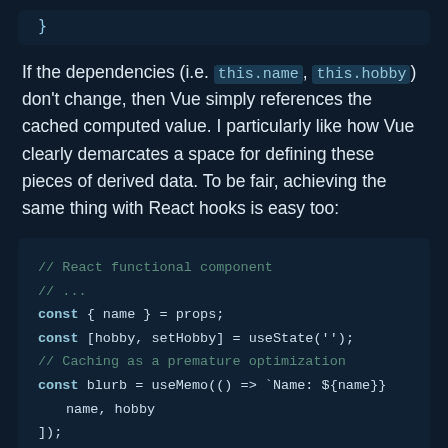}
If the dependencies (i.e. this.name, this.hobby) don't change, then Vue simply references the cached computed value. I particularly like how Vue clearly demarcates a space for defining these pieces of derived data. To be fair, achieving the same thing with React hooks is easy too:
// React functional component
// ...
const { name } = props;
const [hobby, setHobby] = useState('');
// Caching as a premature optimization
const blurb = useMemo(() => `Name: ${name}
  name, hobby
]);